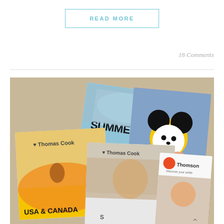READ MORE
18 Comments
[Figure (photo): A spread of travel brochures on a carpeted floor, including Thomas Cook (USA & Canada), Thomas Cook, a Summer 2017 Club Med brochure, a Disney/Mickey Mouse brochure, and a Thomson brochure.]